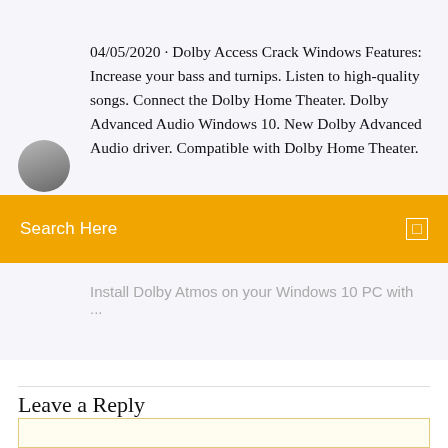04/05/2020 · Dolby Access Crack Windows Features: Increase your bass and turnips. Listen to high-quality songs. Connect the Dolby Home Theater. Dolby Advanced Audio Windows 10. New Dolby Advanced Audio driver. Compatible with Dolby Home Theater.
Search Here
Install Dolby Atmos on your Windows 10 PC with ...
Leave a Reply